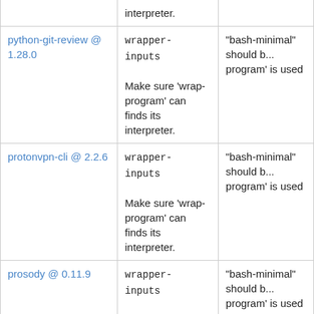| Package | Check | Description |
| --- | --- | --- |
| (partial - interpreter.) | wrapper-inputs
Make sure 'wrap-program' can finds its interpreter. | "bash-minimal" should b... program' is used |
| python-git-review @ 1.28.0 | wrapper-inputs
Make sure 'wrap-program' can finds its interpreter. | "bash-minimal" should b... program' is used |
| protonvpn-cli @ 2.2.6 | wrapper-inputs
Make sure 'wrap-program' can finds its interpreter. | "bash-minimal" should b... program' is used |
| prosody @ 0.11.9 | wrapper-inputs
Make sure 'wrap-program' can finds its interpreter. | "bash-minimal" should b... program' is used |
| (partial bottom row) |  | "bash-minimal" should b... |